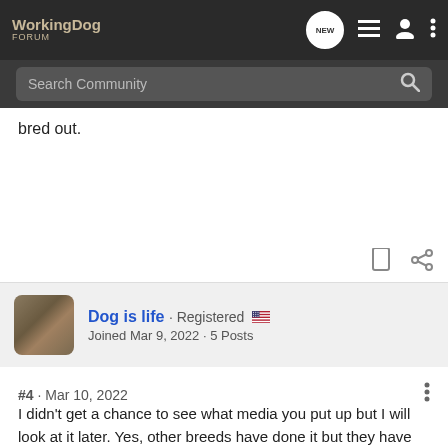WorkingDog FORUM
Search Community
bred out.
Dog is life · Registered
Joined Mar 9, 2022 · 5 Posts
#4 · Mar 10, 2022
I didn't get a chance to see what media you put up but I will look at it later. Yes, other breeds have done it but they have the drive and it took a lot of hard work most likely. Main reason I say no is body type because there is no same ul american bully with